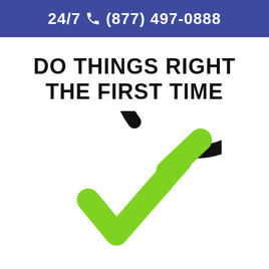24/7 📞 (877) 497-0888
DO THINGS RIGHT THE FIRST TIME
[Figure (illustration): A large black circle outline with a bright green checkmark inside, symbolizing correctness or completion. The circle is not fully closed at the top-right where the checkmark extends beyond.]